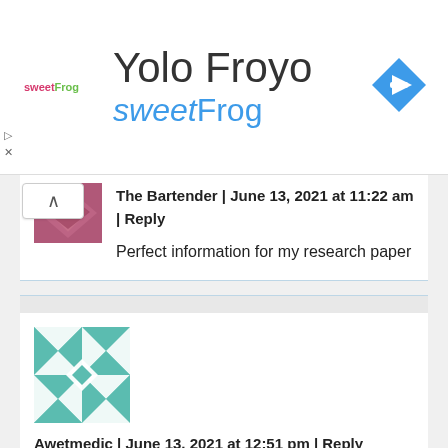[Figure (screenshot): Ad banner for Yolo Froyo / sweetFrog with logo, title, and navigation arrow icon]
The Bartender | June 13, 2021 at 11:22 am | Reply
Perfect information for my research paper
[Figure (illustration): Avatar icon: teal geometric quilt pattern]
Awetmedic | June 13, 2021 at 12:51 pm | Reply
Can it see through the climate change hoax?